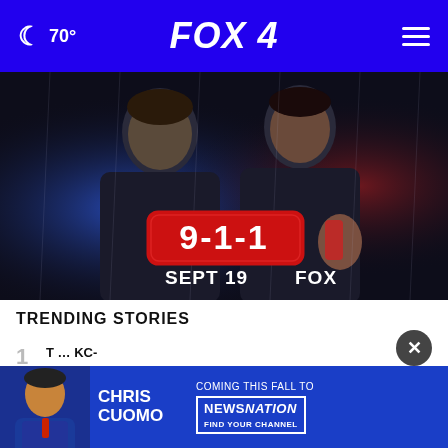🌙 70° FOX 4
[Figure (photo): Promotional image for the TV show 9-1-1 on FOX, showing two actors against a dark rainy background with police lights. The 9-1-1 logo is shown in red with a rounded rectangle, and text reads 'SEPT 19 FOX'.]
TRENDING STORIES
1  T... KC-a...
[Figure (photo): Advertisement banner: Chris Cuomo photo on left, text 'CHRIS CUOMO COMING THIS FALL TO NEWSNATION FIND YOUR CHANNEL']